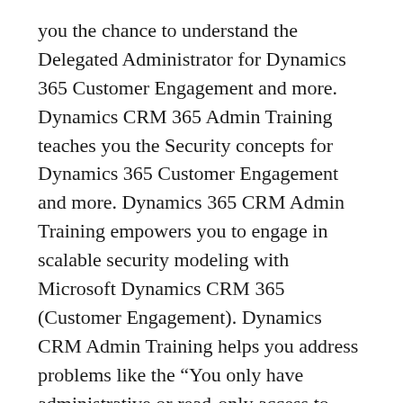you the chance to understand the Delegated Administrator for Dynamics 365 Customer Engagement and more. Dynamics CRM 365 Admin Training teaches you the Security concepts for Dynamics 365 Customer Engagement and more. Dynamics 365 CRM Admin Training empowers you to engage in scalable security modeling with Microsoft Dynamics CRM 365 (Customer Engagement). Dynamics CRM Admin Training helps you address problems like the “You only have administrative or read-only access to your organization” error message you might get when you configure Microsoft Dynamics CRM for use with Microsoft Office Outlook. Dynamics CRM 365 Admin Mode Training helps